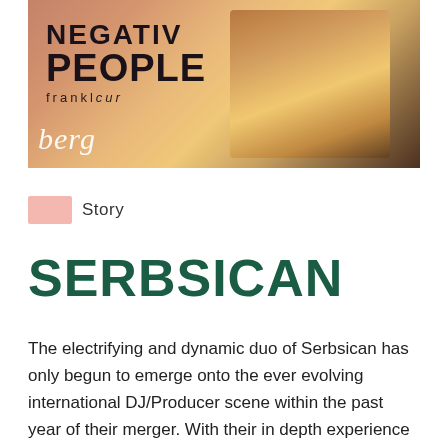[Figure (photo): Two people at what appears to be a DJ or music event. One person wears an orange shirt with 'NEGATIVE PEOPLE' text. Background shows warm golden/orange tones. Text 'berg' appears in white italic in lower left corner.]
Story
SERBSICAN
The electrifying and dynamic duo of Serbsican has only begun to emerge onto the ever evolving international DJ/Producer scene within the past year of their merger. With their in depth experience and dedicated attention to detail, they produce a variety of tracks, in which appease to many